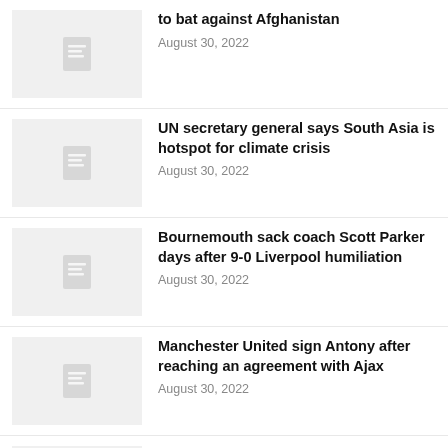to bat against Afghanistan — August 30, 2022
UN secretary general says South Asia is hotspot for climate crisis — August 30, 2022
Bournemouth sack coach Scott Parker days after 9-0 Liverpool humiliation — August 30, 2022
Manchester United sign Antony after reaching an agreement with Ajax — August 30, 2022
KTR tests Covid positive for second time